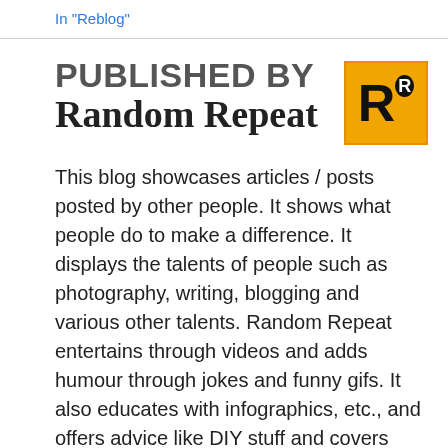In "Reblog"
PUBLISHED BY
Random Repeat
[Figure (logo): Orange square logo with a large black letter R and a small superscript R in a white circle, on an orange background]
This blog showcases articles / posts posted by other people. It shows what people do to make a difference. It displays the talents of people such as photography, writing, blogging and various other talents. Random Repeat entertains through videos and adds humour through jokes and funny gifs. It also educates with infographics, etc., and offers advice like DIY stuff and covers topics like health and motivation. It also gives a chance for people to be heard or seen again. Many times people put in a lot of effort to make their post or work stand out, but it